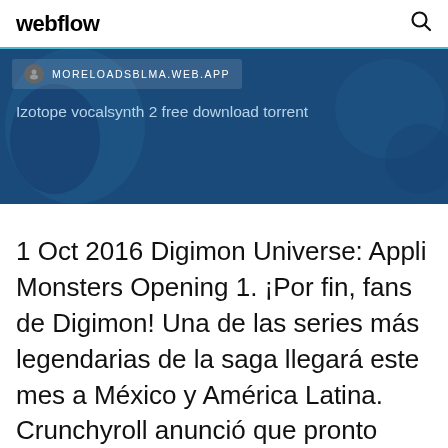webflow
[Figure (screenshot): Blue banner with URL bar showing MORELOADSBLMA.WEB.APP and text 'Izotope vocalsynth 2 free download torrent' over a dark blue map background]
1 Oct 2016 Digimon Universe: Appli Monsters Opening 1. ¡Por fin, fans de Digimon! Una de las series más legendarias de la saga llegará este mes a México y América Latina. Crunchyroll anunció que pronto agregarán